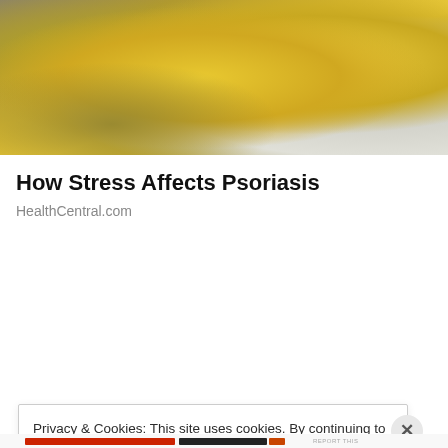[Figure (photo): Photo of a person in a yellow sweater sitting on a couch, partially cropped, showing stress/psoriasis context]
How Stress Affects Psoriasis
HealthCentral.com
Privacy & Cookies: This site uses cookies. By continuing to use this website, you agree to their use.
To find out more, including how to control cookies, see here: Cookie Policy
Close and accept